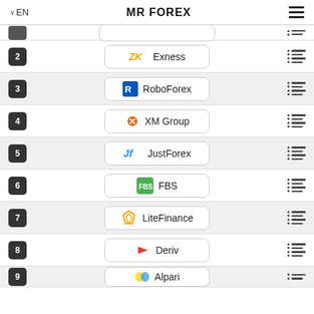EN | MR FOREX
2 Exness
3 RoboForex
4 XM Group
5 JustForex
6 FBS
7 LiteFinance
8 Deriv
9 Alpari